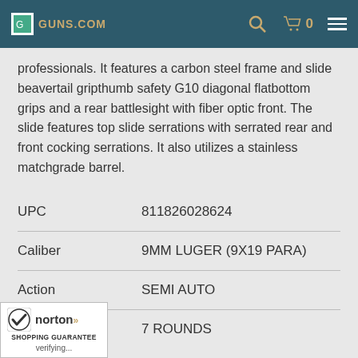GUNS.COM - search, cart 0, menu
professionals. It features a carbon steel frame and slide beavertail gripthumb safety G10 diagonal flatbottom grips and a rear battlesight with fiber optic front. The slide features top slide serrations with serrated rear and front cocking serrations. It also utilizes a stainless matchgrade barrel.
| Attribute | Value |
| --- | --- |
| UPC | 811826028624 |
| Caliber | 9MM LUGER (9X19 PARA) |
| Action | SEMI AUTO |
|  | 7 ROUNDS |